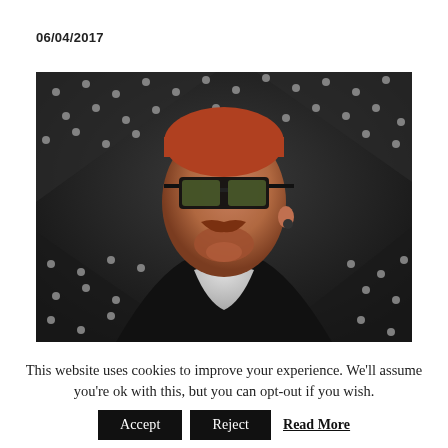06/04/2017
[Figure (photo): A young man with red hair, a mustache and beard, wearing dark sunglasses and a black coat over a white shirt, posing against a dark industrial background with riveted metal surfaces.]
This website uses cookies to improve your experience. We'll assume you're ok with this, but you can opt-out if you wish.
Accept   Reject   Read More